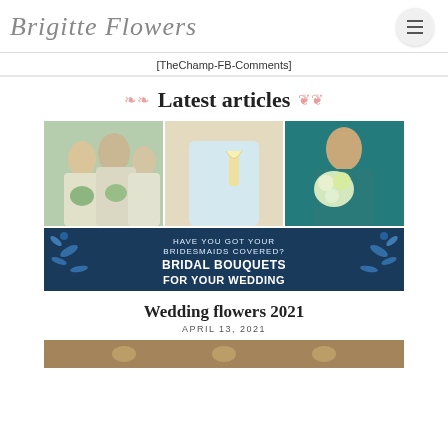Brigitte Flowers
[TheChamp-FB-Comments]
Latest articles
[Figure (photo): Composite wedding flowers image: bridesmaids holding bouquets in top portion, and a dark blue banner with text 'HAVE YOU GOT YOUR BRIDESMAIDS COVERED? BRIDAL BOUQUETS FOR YOUR WEDDING' with floral decoration]
Wedding flowers 2021
APRIL 13, 2021
[Figure (photo): Partial bottom image showing candles or lighting, partially visible]